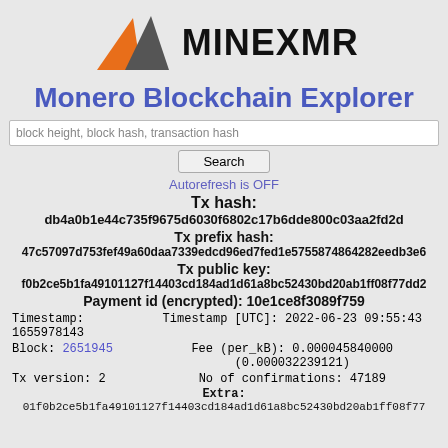[Figure (logo): MineXMR logo with orange and grey mountain triangles and MINEXMR text]
Monero Blockchain Explorer
block height, block hash, transaction hash [Search bar]
Autorefresh is OFF
Tx hash: db4a0b1e44c735f9675d6030f6802c17b6dde800c03aa2fd2d...
Tx prefix hash: 47c57097d753fef49a60daa7339edcd96ed7fed1e5755874864282eedb3e6...
Tx public key: f0b2ce5b1fa49101127f14403cd184ad1d61a8bc52430bd20ab1ff08f77dd2...
Payment id (encrypted): 10e1ce8f3089f759
| Left | Right |
| --- | --- |
| Timestamp:
1655978143 | Timestamp [UTC]: 2022-06-23 09:55:43 |
| Block: 2651945 | Fee (per_kB): 0.000045840000
(0.000032239121) |
| Tx version: 2 | No of confirmations: 47189 |
Extra:
01f0b2ce5b1fa49101127f14403cd184ad1d61a8bc52430bd20ab1ff08f77...